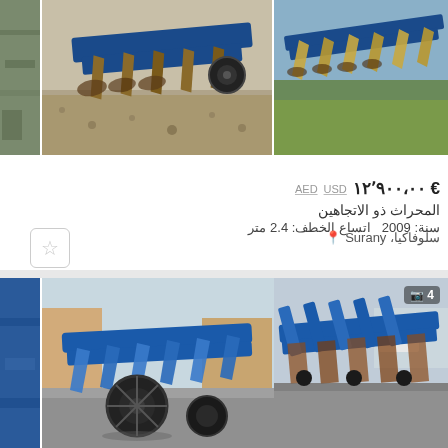[Figure (photo): Top listing: three farm plow images side by side - left edge partial view, main center image of blue plow on gravel, right image of plow in field]
ÖVERUM DVL 61080 F
€ ١٢٬٩٠٠،٠٠  USD  AED
المحراث ذو الاتجاهين
سنة: 2009  اتساع الخطف: 2.4 متر
سلوفاكيا، Šurany
[Figure (photo): Bottom listing: three farm blue plow images - left partial, center blue plow with wheel on pavement, right blue plow equipment with photo badge showing camera icon and 4]